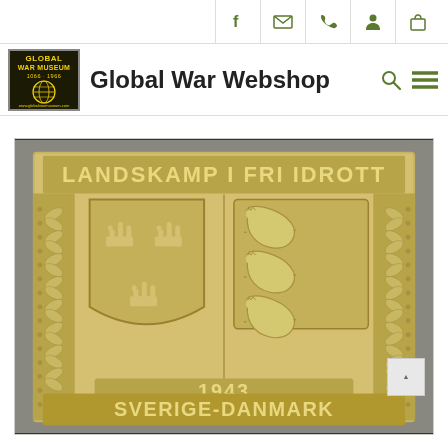Global War Webshop — top navigation bar with social/contact icons and logo
Global War Webshop
[Figure (photo): Bronze/gold-colored commemorative medal plaque reading 'LANDSKAMP I FRI IDROTT' at top, featuring Swedish three crowns coat of arms on the left and Danish lion coat of arms on the right, with '1943' and 'SVERIGE-DANMARK' inscribed at the bottom. Decorative laurel borders on sides.]